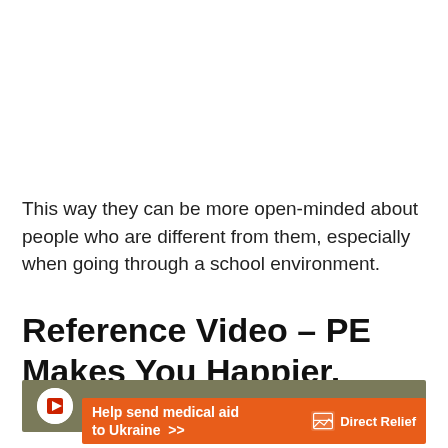This way they can be more open-minded about people who are different from them, especially when going through a school environment.
Reference Video – PE Makes You Happier, Healthier & Smarter!
[Figure (screenshot): Video thumbnail with olive/khaki background color and a circular avatar icon on the left, partially visible]
[Figure (infographic): Orange advertisement banner reading 'Help send medical aid to Ukraine >>' with Direct Relief logo on the right]